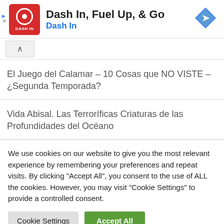[Figure (logo): Dash In advertisement banner with red logo, title 'Dash In, Fuel Up, & Go', subtitle 'Dash In', and blue diamond navigation icon]
El Juego del Calamar – 10 Cosas que NO VISTE – ¿Segunda Temporada?
Vida Abisal. Las Terroríficas Criaturas de las Profundidades del Océano
We use cookies on our website to give you the most relevant experience by remembering your preferences and repeat visits. By clicking "Accept All", you consent to the use of ALL the cookies. However, you may visit "Cookie Settings" to provide a controlled consent.